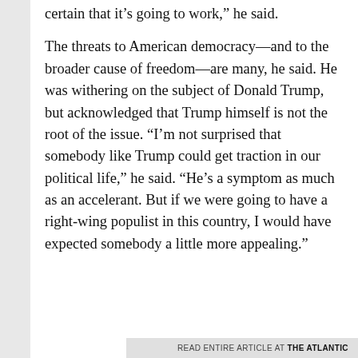certain that it’s going to work,” he said.
The threats to American democracy—and to the broader cause of freedom—are many, he said. He was withering on the subject of Donald Trump, but acknowledged that Trump himself is not the root of the issue. “I’m not surprised that somebody like Trump could get traction in our political life,” he said. “He’s a symptom as much as an accelerant. But if we were going to have a right-wing populist in this country, I would have expected somebody a little more appealing.”
READ ENTIRE ARTICLE AT THE ATLANTIC